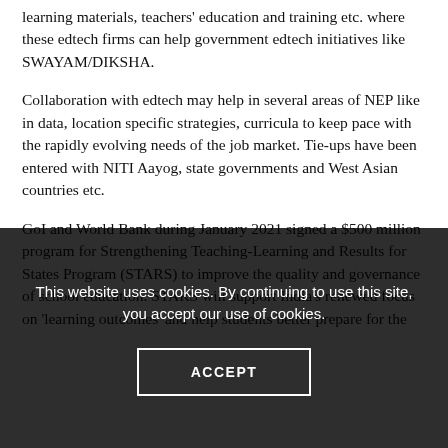learning materials, teachers' education and training etc. where these edtech firms can help government edtech initiatives like SWAYAM/DIKSHA.
Collaboration with edtech may help in several areas of NEP like in data, location specific strategies, curricula to keep pace with the rapidly evolving needs of the job market. Tie-ups have been entered with NITI Aayog, state governments and West Asian countries etc.
GoI and World Bank during January 2021 signed a $500 million program for Strengthening Teaching-Learning and Results for States Program (STARS) to improve the quality and governance of school education. STARS will support India's renewed focus on 'learning outcomes' and help students better prepare for the
This website uses cookies. By continuing to use this site, you accept our use of cookies.